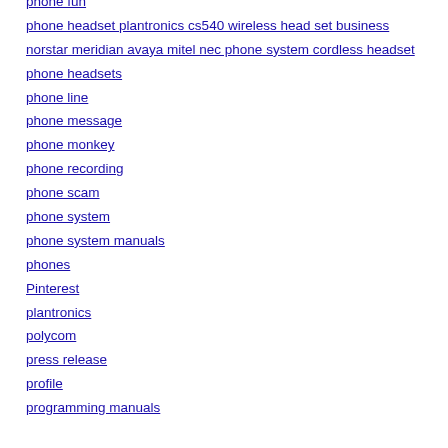phone fun
phone headset plantronics cs540 wireless head set business
norstar meridian avaya mitel nec phone system cordless headset
phone headsets
phone line
phone message
phone monkey
phone recording
phone scam
phone system
phone system manuals
phones
Pinterest
plantronics
polycom
press release
profile
programming manuals